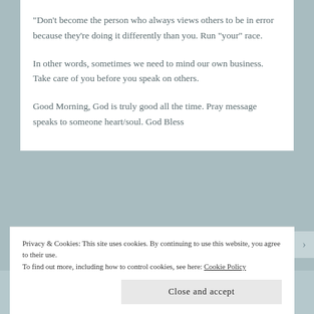“Don’t become the person who always views others to be in error because they’re doing it differently than you. Run “your” race.
In other words, sometimes we need to mind our own business. Take care of you before you speak on others.
Good Morning, God is truly good all the time. Pray message speaks to someone heart/soul. God Bless
Privacy & Cookies: This site uses cookies. By continuing to use this website, you agree to their use.
To find out more, including how to control cookies, see here: Cookie Policy
Close and accept